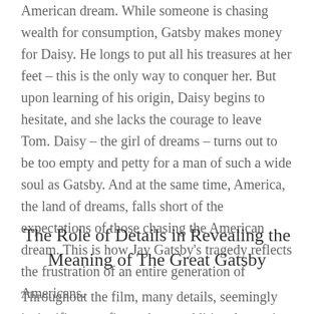American dream. While someone is chasing wealth for consumption, Gatsby makes money for Daisy. He longs to put all his treasures at her feet – this is the only way to conquer her. But upon learning of his origin, Daisy begins to hesitate, and she lacks the courage to leave Tom. Daisy – the girl of dreams – turns out to be too empty and petty for a man of such a wide soul as Gatsby. And at the same time, America, the land of dreams, falls short of the expectations of those chasing the American dream. This is how Jay Gatsby's tragedy reflects the frustration of an entire generation of Americans.
The Role of Details in Revealing the Meaning of The Great Gatsby
Throughout the film, many details, seemingly insignificant at first, take on additional meaning and help clarify the